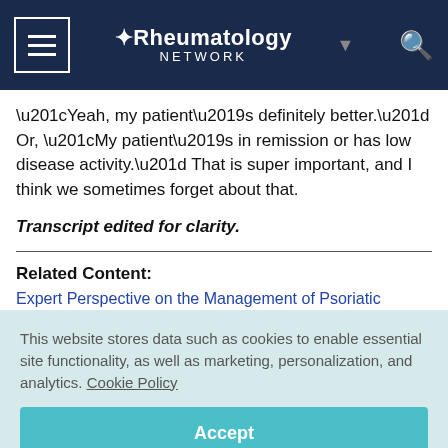Rheumatology Network
“Yeah, my patient’s definitely better.” Or, “My patient’s in remission or has low disease activity.” That is super important, and I think we sometimes forget about that.
Transcript edited for clarity.
Related Content:
Expert Perspective on the Management of Psoriatic Arthritis |
This website stores data such as cookies to enable essential site functionality, as well as marketing, personalization, and analytics. Cookie Policy
Accept
Deny